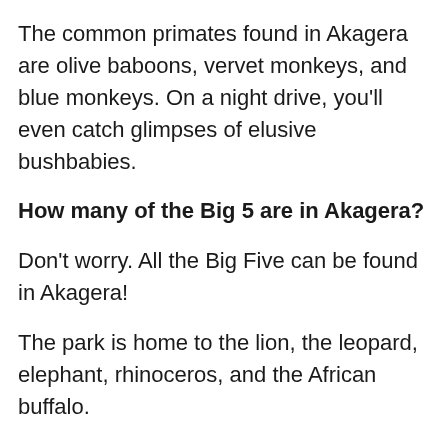The common primates found in Akagera are olive baboons, vervet monkeys, and blue monkeys. On a night drive, you'll even catch glimpses of elusive bushbabies.
How many of the Big 5 are in Akagera?
Don't worry. All the Big Five can be found in Akagera!
The park is home to the lion, the leopard, elephant, rhinoceros, and the African buffalo.
(Not so) fun fact: The Big Five animals received their title because they were considered the most difficult animals to kill by European trophy hunters in East Africa.